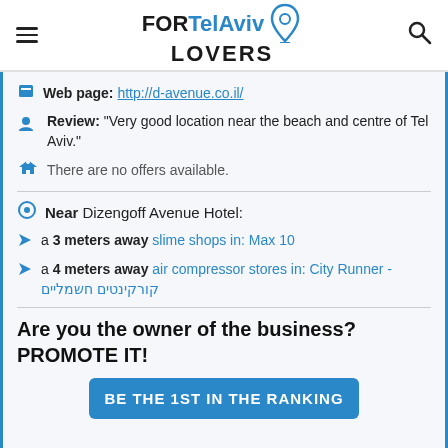FORTelAviv LOVERS
Web page: http://d-avenue.co.il/
Review: "Very good location near the beach and centre of Tel Aviv."
There are no offers available.
Near Dizengoff Avenue Hotel:
a 3 meters away slime shops in: Max 10
a 4 meters away air compressor stores in: City Runner - קורקינטים חשמליים
Are you the owner of the business? PROMOTE IT!
BE THE 1ST IN THE RANKING